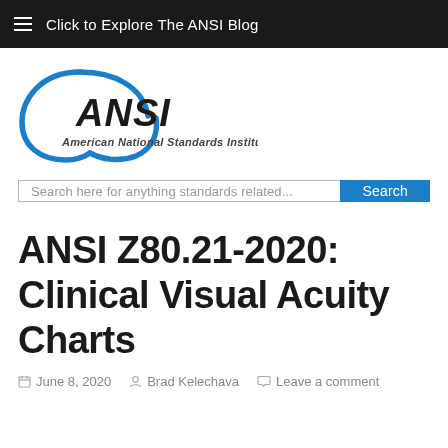Click to Explore The ANSI Blog
[Figure (logo): ANSI - American National Standards Institute logo with blue arc/circle graphic and bold italic text]
Search here for anything standards related...
ANSI Z80.21-2020: Clinical Visual Acuity Charts
June 8, 2020   Brad Kelechava   Leave a comment